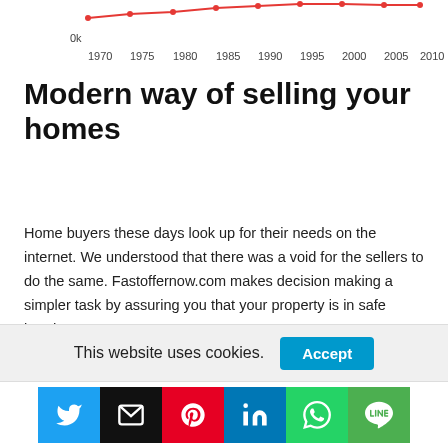[Figure (line-chart): Partial top of a line chart showing x-axis labels 1970–2010 and a '0k' y-axis label with a red line trend visible at top]
Modern way of selling your homes
Home buyers these days look up for their needs on the internet. We understood that there was a void for the sellers to do the same. Fastoffernow.com makes decision making a simpler task by assuring you that your property is in safe hands.
[Figure (bar-chart): Bottom portion of a 'Home values' bar chart, partially visible]
This website uses cookies.
[Figure (infographic): Social sharing icons: Twitter, Email, Pinterest, LinkedIn, WhatsApp, LINE]